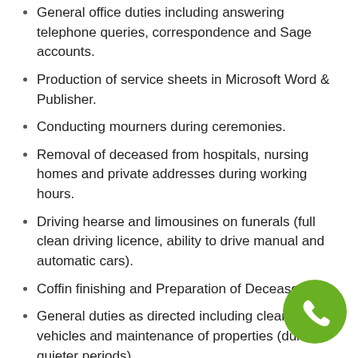General office duties including answering telephone queries, correspondence and Sage accounts.
Production of service sheets in Microsoft Word & Publisher.
Conducting mourners during ceremonies.
Removal of deceased from hospitals, nursing homes and private addresses during working hours.
Driving hearse and limousines on funerals (full clean driving licence, ability to drive manual and automatic cars).
Coffin finishing and Preparation of Deceased
General duties as directed including cleaning vehicles and maintenance of properties (during quieter periods)
Flexibility: The funeral business can be very unpredictable, and the employee will be expected to adopt a very flexible approach to their work and may be expected to work overtime with little or no warning.